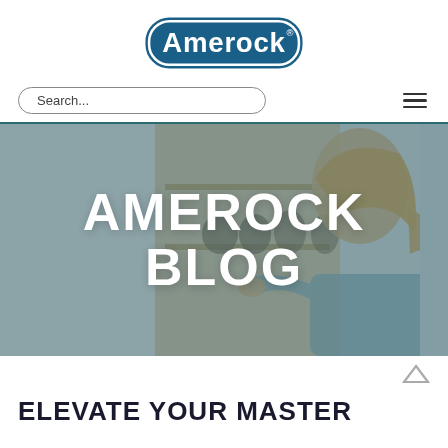[Figure (logo): Amerock logo — blue rounded rectangle border with 'Amerock' text in white on blue fill, with registered trademark symbol]
Search...
[Figure (photo): Woman with blonde ponytail reaching into an open kitchen cabinet organizing glass jars, overlaid with semi-transparent teal/blue panel and large white text 'AMEROCK BLOG']
AMEROCK BLOG
ELEVATE YOUR MASTER